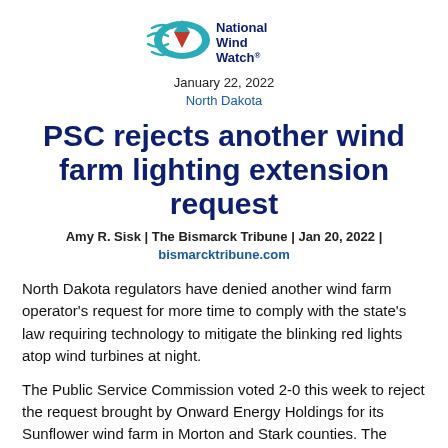[Figure (logo): National Wind Watch logo — stylized eye/wind design in teal and red with text 'National Wind Watch' in navy blue]
January 22, 2022
North Dakota
PSC rejects another wind farm lighting extension request
Amy R. Sisk | The Bismarck Tribune | Jan 20, 2022 | bismarcktribune.com
North Dakota regulators have denied another wind farm operator's request for more time to comply with the state's law requiring technology to mitigate the blinking red lights atop wind turbines at night.
The Public Service Commission voted 2-0 this week to reject the request brought by Onward Energy Holdings for its Sunflower wind farm in Morton and Stark counties. The commission has rejected several similar requests in recent weeks.